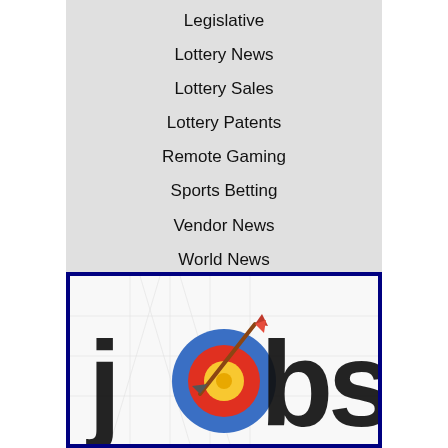Legislative
Lottery News
Lottery Sales
Lottery Patents
Remote Gaming
Sports Betting
Vendor News
World News
Video Lottery
[Figure (illustration): Jobs graphic showing the word 'jobs' in large black text with an archery target (bullseye with blue, red, yellow rings) and an arrow through it forming the letter 'o', set against a map background. Blurred/partial view.]